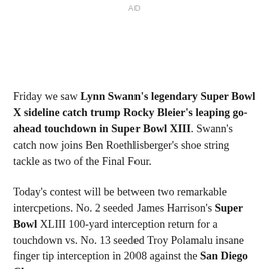AD
Friday we saw Lynn Swann's legendary Super Bowl X sideline catch trump Rocky Bleier's leaping go-ahead touchdown in Super Bowl XIII. Swann's catch now joins Ben Roethlisberger's shoe string tackle as two of the Final Four.
Today's contest will be between two remarkable intercpetions. No. 2 seeded James Harrison's Super Bowl XLIII 100-yard interception return for a touchdown vs. No. 13 seeded Troy Polamalu insane finger tip interception in 2008 against the San Diego Chargers.